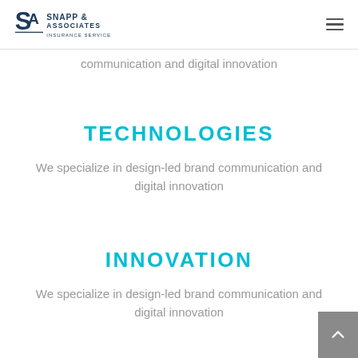Snapp & Associates Insurance Services Inc
communication and digital innovation
TECHNOLOGIES
We specialize in design-led brand communication and digital innovation
INNOVATION
We specialize in design-led brand communication and digital innovation